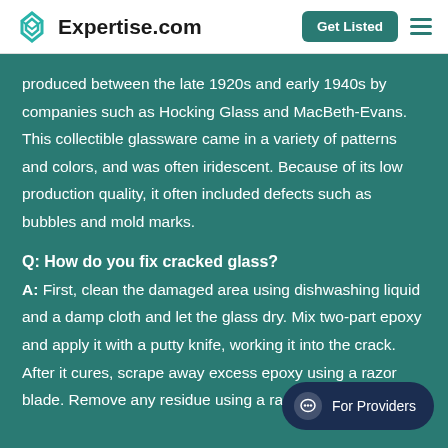Expertise.com — Get Listed
produced between the late 1920s and early 1940s by companies such as Hocking Glass and MacBeth-Evans. This collectible glassware came in a variety of patterns and colors, and was often iridescent. Because of its low production quality, it often included defects such as bubbles and mold marks.
Q: How do you fix cracked glass?
A: First, clean the damaged area using dishwashing liquid and a damp cloth and let the glass dry. Mix two-part epoxy and apply it with a putty knife, working it into the crack. After it cures, scrape away excess epoxy using a razor blade. Remove any residue using a rag m...